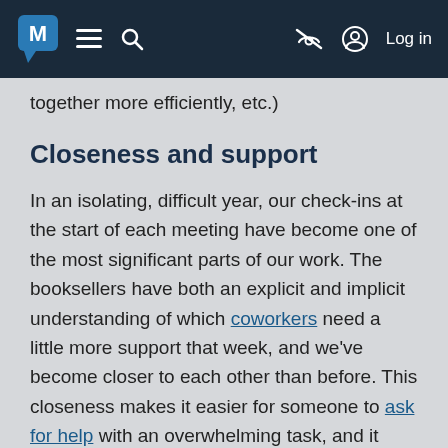M [logo] ≡ 🔍 [eye-slash icon] [person icon] Log in
together more efficiently, etc.)
Closeness and support
In an isolating, difficult year, our check-ins at the start of each meeting have become one of the most significant parts of our work. The booksellers have both an explicit and implicit understanding of which coworkers need a little more support that week, and we've become closer to each other than before. This closeness makes it easier for someone to ask for help with an overwhelming task, and it makes it less daunting for even shy